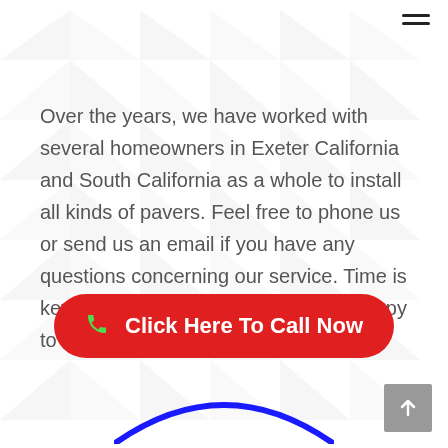[Figure (other): Hamburger menu icon (three horizontal lines) in the top right corner]
Over the years, we have worked with several homeowners in Exeter California and South California as a whole to install all kinds of pavers. Feel free to phone us or send us an email if you have any questions concerning our service. Time is key to us and we will be more than happy to help.
[Figure (other): Red rounded rectangle CTA button with green phone icon and white text reading 'Click Here To Call Now']
[Figure (other): Grey scroll-to-top button with upward white arrow in bottom right corner]
[Figure (other): Blue circle arc logo partially visible at bottom center of page]